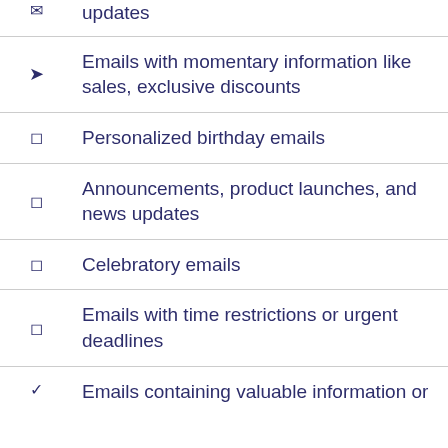updates
Emails with momentary information like sales, exclusive discounts
Personalized birthday emails
Announcements, product launches, and news updates
Celebratory emails
Emails with time restrictions or urgent deadlines
Emails containing valuable information or…